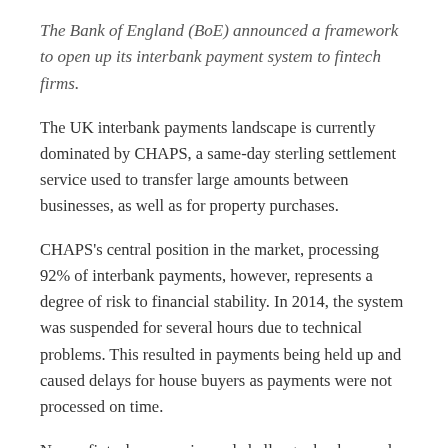The Bank of England (BoE) announced a framework to open up its interbank payment system to fintech firms.
The UK interbank payments landscape is currently dominated by CHAPS, a same-day sterling settlement service used to transfer large amounts between businesses, as well as for property purchases.
CHAPS’s central position in the market, processing 92% of interbank payments, however, represents a degree of risk to financial stability. In 2014, the system was suspended for several hours due to technical problems. This resulted in payments being held up and caused delays for house buyers as payments were not processed on time.
Newer fintech companies and challenger banks are also concerned that they will be at a disadvantage when working with the company, as it is owned by the UK’s four biggest banks.
In response to these concerns, the Bank of England last year announced a plan to widen access to its real time gross